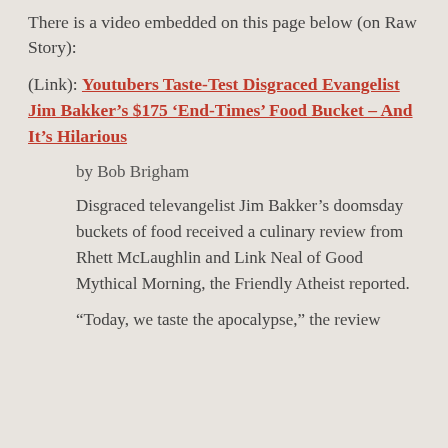There is a video embedded on this page below (on Raw Story):
(Link): Youtubers Taste-Test Disgraced Evangelist Jim Bakker’s $175 ‘End-Times’ Food Bucket – And It’s Hilarious
by Bob Brigham
Disgraced televangelist Jim Bakker’s doomsday buckets of food received a culinary review from Rhett McLaughlin and Link Neal of Good Mythical Morning, the Friendly Atheist reported.
“Today, we taste the apocalypse,” the review